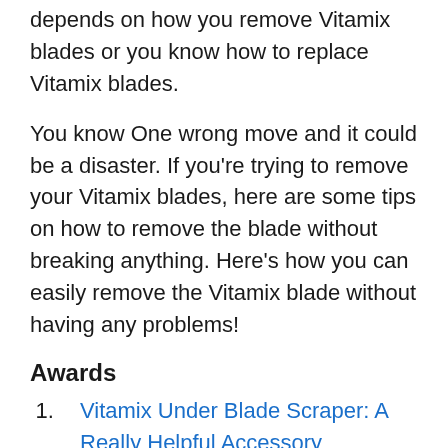depends on how you remove Vitamix blades or you know how to replace Vitamix blades.
You know One wrong move and it could be a disaster. If you're trying to remove your Vitamix blades, here are some tips on how to remove the blade without breaking anything. Here's how you can easily remove the Vitamix blade without having any problems!
Awards
Vitamix Under Blade Scraper: A Really Helpful Accessory